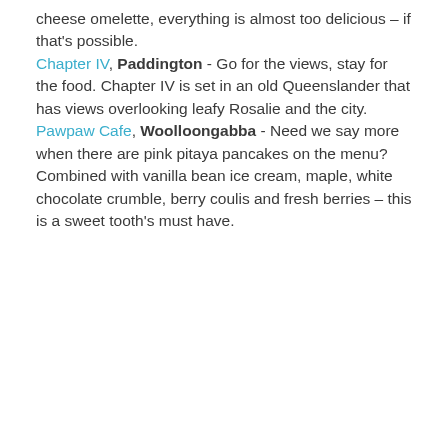cheese omelette, everything is almost too delicious – if that's possible. Chapter IV, Paddington - Go for the views, stay for the food. Chapter IV is set in an old Queenslander that has views overlooking leafy Rosalie and the city. Pawpaw Cafe, Woolloongabba - Need we say more when there are pink pitaya pancakes on the menu? Combined with vanilla bean ice cream, maple, white chocolate crumble, berry coulis and fresh berries – this is a sweet tooth's must have.